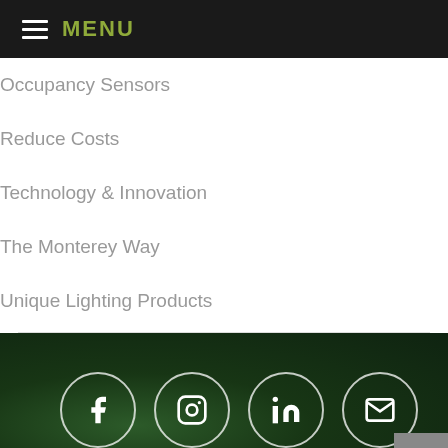MENU
Occupancy Sensors
Reduce Costs
Technology & Innovation
The Monterey Way
Unique Lighting Products
[Figure (infographic): Social media icon bar with dark green background showing Facebook, Instagram, LinkedIn, and email icons in white circle outlines, plus a back-to-top arrow button]